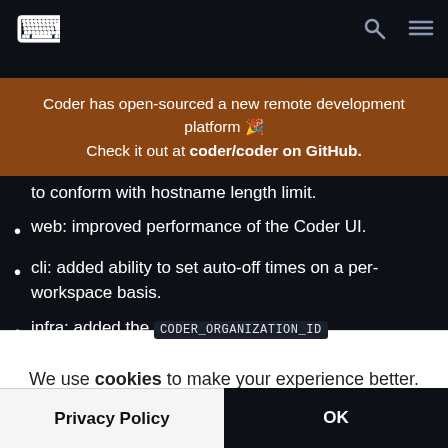Coder - navbar with logo, search, menu
Coder has open-sourced a new remote development platform 🎉 Check it out at coder/coder on GitHub.
web: improved length validation on dev URL names to conform with hostname length limit.
web: improved performance of the Coder UI.
cli: added ability to set auto-off times on a per-workspace basis.
infra: added the CODER_ORGANIZATION_ID
We use cookies to make your experience better.
Privacy Policy
OK